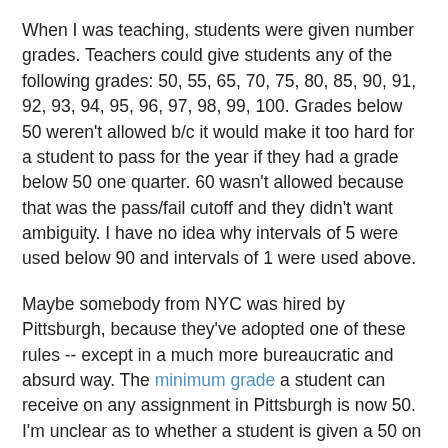When I was teaching, students were given number grades. Teachers could give students any of the following grades: 50, 55, 65, 70, 75, 80, 85, 90, 91, 92, 93, 94, 95, 96, 97, 98, 99, 100. Grades below 50 weren't allowed b/c it would make it too hard for a student to pass for the year if they had a grade below 50 one quarter. 60 wasn't allowed because that was the pass/fail cutoff and they didn't want ambiguity. I have no idea why intervals of 5 were used below 90 and intervals of 1 were used above.
Maybe somebody from NYC was hired by Pittsburgh, because they've adopted one of these rules -- except in a much more bureaucratic and absurd way. The minimum grade a student can receive on any assignment in Pittsburgh is now 50. I'm unclear as to whether a student is given a 50 on an assignment if they fail to complete it.
The motivation behind the policy is sound -- they want to prevent kids from losing hope and, simultaneously, have more kids passing. But, in my mind at least, such an inane rule simply proves that the system is ridiculous to begin with.